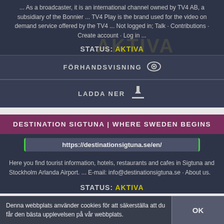... As a broadcaster, it is an international channel owned by TV4 AB, a subsidiary of the Bonnier ... TV4 Play is the brand used for the video on demand service offered by the TV4 ... Not logged in; Talk · Contributions · Create account · Log in ...
STATUS: AKTIVA
FÖRHANDSVISNING
LADDA NER
DESTINATION SIGTUNA | WHERE SWEDEN BEGINS
https://destinationsigtuna.se/en/
Here you find tourist information, hotels, restaurants and cafes in Sigtuna and Stockholm Arlanda Airport. ... E-mail: info@destinationsigtuna.se · About us.
STATUS: AKTIVA
Denna webbplats använder cookies för att säkerställa att du får den bästa upplevelsen på vår webbplats.